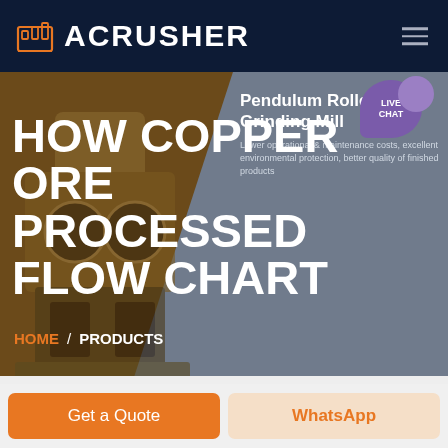ACRUSHER
HOW COPPER ORE PROCESSED FLOW CHART
[Figure (screenshot): Website screenshot showing ACRUSHER brand header with logo, navigation hamburger menu, hero section with brown and grey diagonal background, industrial crusher machine image, 'Pendulum Roller Grinding Mill' product panel on right with description text, LIVE CHAT bubble, and HOME / PRODUCTS breadcrumb navigation]
Pendulum Roller Grinding Mill
Lower operational & maintenance costs, excellent environmental protection, better quality of finished products
HOME / PRODUCTS
Get a Quote
WhatsApp